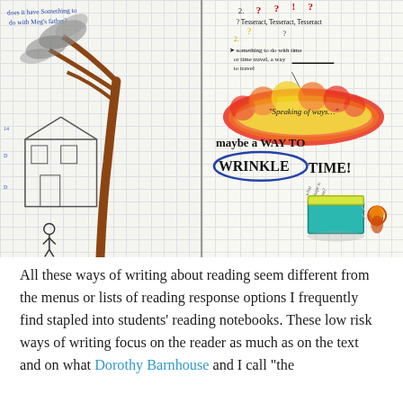[Figure (photo): A photograph of an open student reading/thinking notebook with hand-drawn sketches and handwritten notes on both pages. The left page shows a pencil and colored drawing of a tree, a house/building, and a small figure. The right page contains handwritten text including questions about 'Tesseract, Tesseract, Tesseract', notes about 'something to do with time or time travel, a way to travel', a colorful cloud shape with the quote 'Speaking of ways...' inside, large text saying 'maybe a WAY TO WRINKLE TIME!', and sketches of a book and a figure at the bottom.]
All these ways of writing about reading seem different from the menus or lists of reading response options I frequently find stapled into students' reading notebooks. These low risk ways of writing focus on the reader as much as on the text and on what Dorothy Barnhouse and I call "the